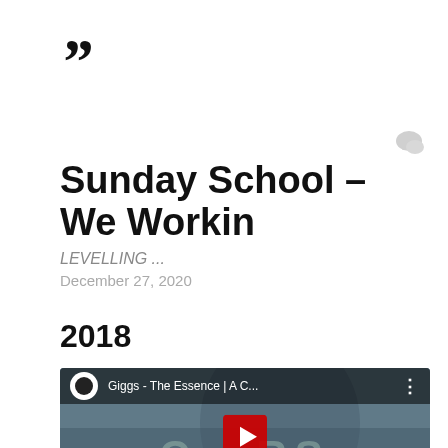““
Sunday School – We Workin
LEVELLING ...
December 27, 2020
2018
[Figure (screenshot): YouTube video thumbnail for 'Giggs - The Essence | A C...' showing a person in red jacket with COLORS text overlay and YouTube play button]